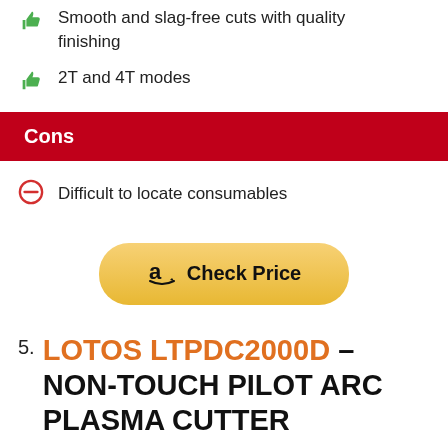Smooth and slag-free cuts with quality finishing
2T and 4T modes
Cons
Difficult to locate consumables
[Figure (other): Amazon Check Price button with Amazon logo and bold text]
5. LOTOS LTPDC2000D – NON-TOUCH PILOT ARC PLASMA CUTTER